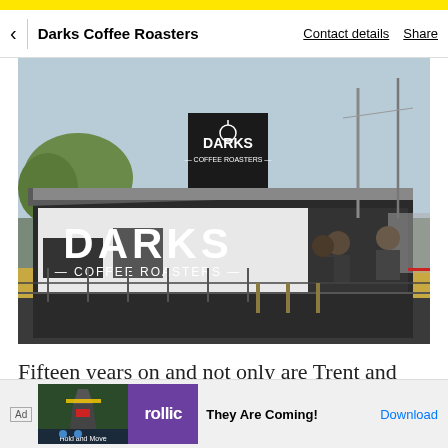Darks Coffee Roasters | Contact details | Share
[Figure (photo): Exterior photo of Darks Coffee Roasters, a shipping container converted into a coffee shop with a large sign reading DARKS COFFEE ROASTERS, outdoor seating, and staff visible behind the counter.]
Fifteen years on and not only are Trent and Adam still talking to one another, but they've converted their dream
becom they